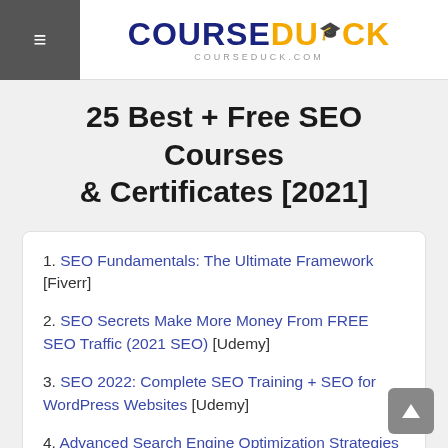COURSEDUCK — courseduck.com
25 Best + Free SEO Courses & Certificates [2021]
1. SEO Fundamentals: The Ultimate Framework [Fiverr]
2. SEO Secrets Make More Money From FREE SEO Traffic (2021 SEO) [Udemy]
3. SEO 2022: Complete SEO Training + SEO for WordPress Websites [Udemy]
4. Advanced Search Engine Optimization Strategies [Coursera]